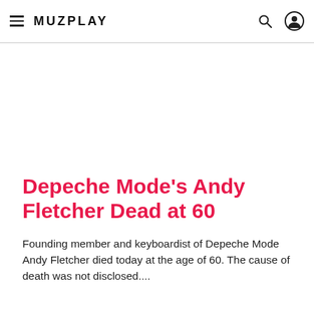MUZPLAY
Depeche Mode's Andy Fletcher Dead at 60
Founding member and keyboardist of Depeche Mode Andy Fletcher died today at the age of 60. The cause of death was not disclosed....